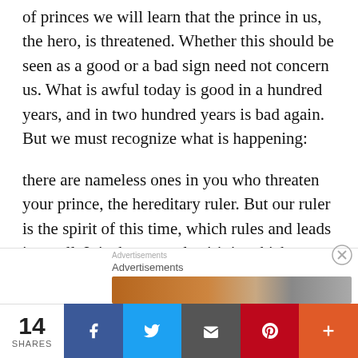of princes we will learn that the prince in us, the hero, is threatened. Whether this should be seen as a good or a bad sign need not concern us. What is awful today is good in a hundred years, and in two hundred years is bad again. But we must recognize what is happening:
there are nameless ones in you who threaten your prince, the hereditary ruler. But our ruler is the spirit of this time, which rules and leads in us all. It is the general spirit in which we think and act today. He is of frightful power, since he has brought immeasurable good to this world and fascinated men with unbelievable pleasure.
14 SHARES | Advertisements